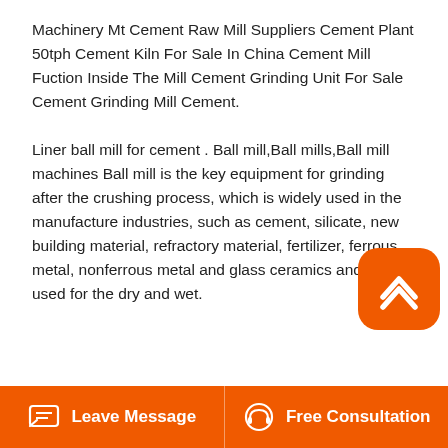Machinery Mt Cement Raw Mill Suppliers Cement Plant 50tph Cement Kiln For Sale In China Cement Mill Fuction Inside The Mill Cement Grinding Unit For Sale Cement Grinding Mill Cement.
Liner ball mill for cement . Ball mill,Ball mills,Ball mill machines Ball mill is the key equipment for grinding after the crushing process, which is widely used in the manufacture industries, such as cement, silicate, new building material, refractory material, fertilizer, ferrous metal, nonferrous metal and glass ceramics and can be used for the dry and wet.
[Figure (photo): Industrial cement mill equipment photo showing cylindrical grinding mills in red and green colors with yellow/blue structures in background]
Leave Message   Free Consultation